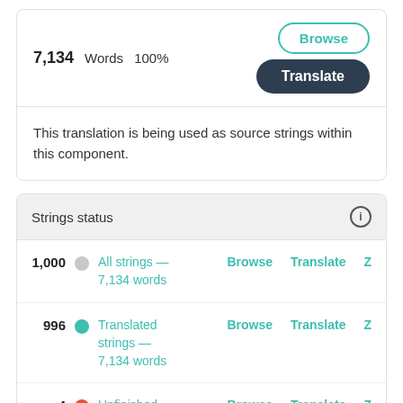7,134 Words 100%
Translate
This translation is being used as source strings within this component.
Strings status
1,000 All strings — 7,134 words Browse Translate Z
996 Translated strings — 7,134 words Browse Translate Z
4 Unfinished strings — 0 words Browse Translate Z